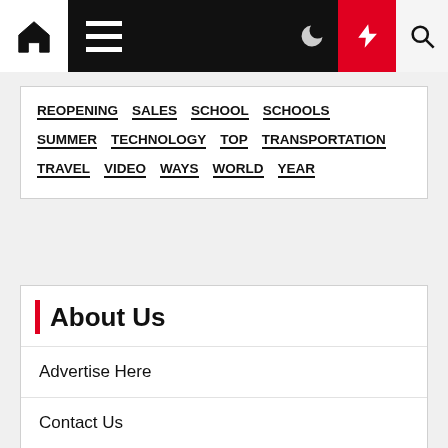Navigation bar with home, menu, moon/dark-mode, lightning/breaking, and search icons
REOPENING
SALES
SCHOOL
SCHOOLS
SUMMER
TECHNOLOGY
TOP
TRANSPORTATION
TRAVEL
VIDEO
WAYS
WORLD
YEAR
About Us
Advertise Here
Contact Us
Privacy Policy
Sitemap